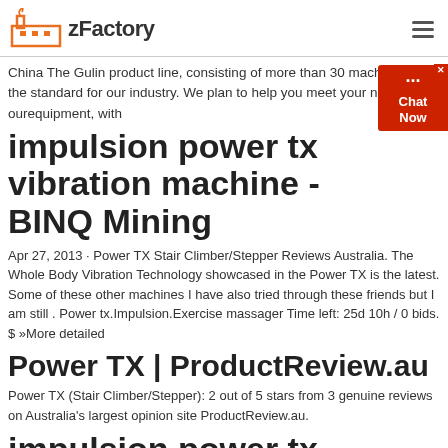zFactory
China The Gulin product line, consisting of more than 30 machines, sets the standard for our industry. We plan to help you meet your needs with ourequipment, with
impulsion power tx vibration machine - BINQ Mining
Apr 27, 2013 · Power TX Stair Climber/Stepper Reviews Australia. The Whole Body Vibration Technology showcased in the Power TX is the latest. Some of these other machines I have also tried through these friends but I am still . Power tx.Impulsion.Exercise massager Time left: 25d 10h / 0 bids. $ »More detailed
Power TX | ProductReview.au
Power TX (Stair Climber/Stepper): 2 out of 5 stars from 3 genuine reviews on Australia's largest opinion site ProductReview.au.
impulsion power tx vibration